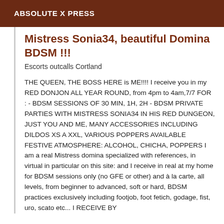ABSOLUTE X PRESS
Mistress Sonia34, beautiful Domina BDSM !!!
Escorts outcalls Cortland
THE QUEEN, THE BOSS HERE is ME!!!! I receive you in my RED DONJON ALL YEAR ROUND, from 4pm to 4am,7/7 FOR : - BDSM SESSIONS OF 30 MIN, 1H, 2H - BDSM PRIVATE PARTIES WITH MISTRESS SONIA34 IN HIS RED DUNGEON, JUST YOU AND ME, MANY ACCESSORIES INCLUDING DILDOS XS A XXL, VARIOUS POPPERS AVAILABLE FESTIVE ATMOSPHERE: ALCOHOL, CHICHA, POPPERS I am a real Mistress domina specialized with references, in virtual in particular on this site: and I receive in real at my home for BDSM sessions only (no GFE or other) and à la carte, all levels, from beginner to advanced, soft or hard, BDSM practices exclusively including footjob, foot fetich, godage, fist, uro, scato etc... I RECEIVE BY